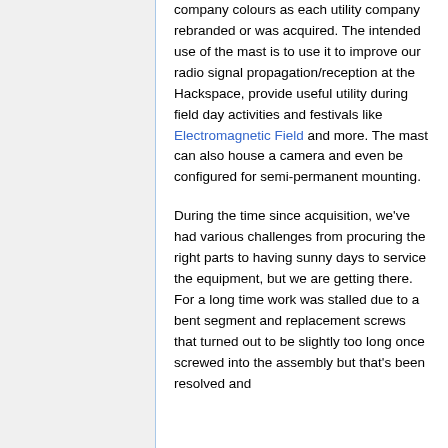company colours as each utility company rebranded or was acquired. The intended use of the mast is to use it to improve our radio signal propagation/reception at the Hackspace, provide useful utility during field day activities and festivals like Electromagnetic Field and more. The mast can also house a camera and even be configured for semi-permanent mounting.
During the time since acquisition, we've had various challenges from procuring the right parts to having sunny days to service the equipment, but we are getting there. For a long time work was stalled due to a bent segment and replacement screws that turned out to be slightly too long once screwed into the assembly but that's been resolved and